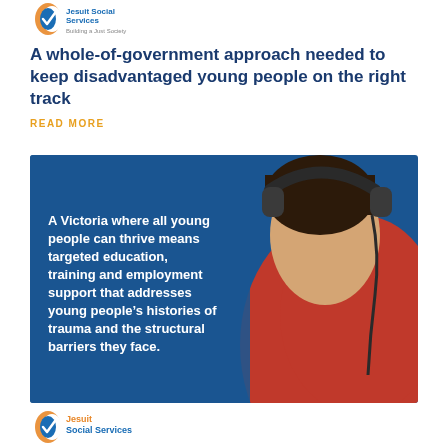[Figure (logo): Jesuit Social Services logo top - partial view showing orange/blue icon and text 'Building a Just Society']
A whole-of-government approach needed to keep disadvantaged young people on the right track
READ MORE
[Figure (photo): Young person wearing headphones and a red jacket, photographed from behind, overlaid on blue background with white bold text: 'A Victoria where all young people can thrive means targeted education, training and employment support that addresses young people's histories of trauma and the structural barriers they face.']
[Figure (logo): Jesuit Social Services logo bottom - partial view showing orange/blue icon and text 'Jesuit Social Services']